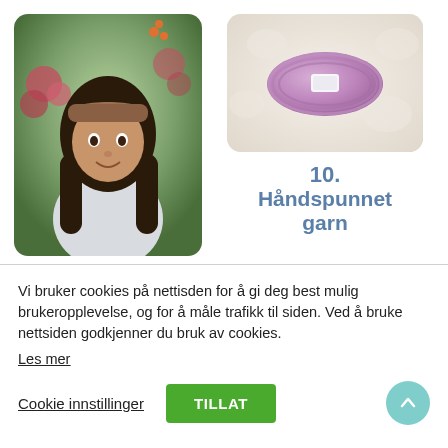[Figure (photo): Young woman wearing a brown knitted headband, sitting outdoors with autumn flowers and plants in background]
[Figure (photo): A skein of lavender/purple hand-spun yarn resting on a fluffy white sheepskin]
10. Håndspunnet garn
Vi bruker cookies på nettisden for å gi deg best mulig brukeropplevelse, og for å måle trafikk til siden. Ved å bruke nettsiden godkjenner du bruk av cookies.
Les mer
Cookie innstillinger
TILLAT